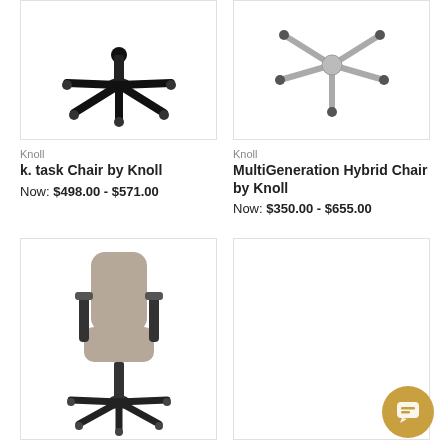[Figure (photo): k. task Chair by Knoll - showing chair base with casters on white background]
Knoll
k. task Chair by Knoll
Now: $498.00 - $571.00
[Figure (photo): MultiGeneration Hybrid Chair by Knoll - showing chair base with star legs on white background]
Knoll
MultiGeneration Hybrid Chair by Knoll
Now: $350.00 - $655.00
[Figure (photo): Knoll office chair - tan/beige upholstered task chair with black arms and base on white background]
Knoll
[Figure (photo): Knoll product - empty white box placeholder]
Knoll